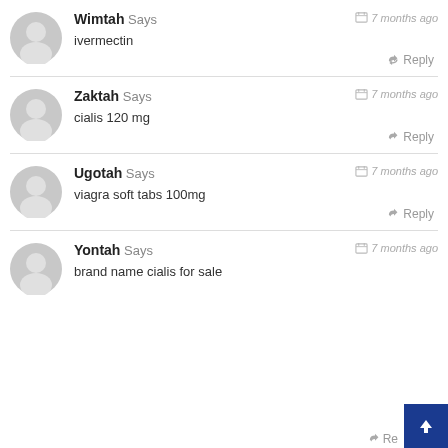Wimtah Says — 7 months ago
ivermectin
Reply
Zaktah Says — 7 months ago
cialis 120 mg
Reply
Ugotah Says — 7 months ago
viagra soft tabs 100mg
Reply
Yontah Says — 7 months ago
brand name cialis for sale
Reply